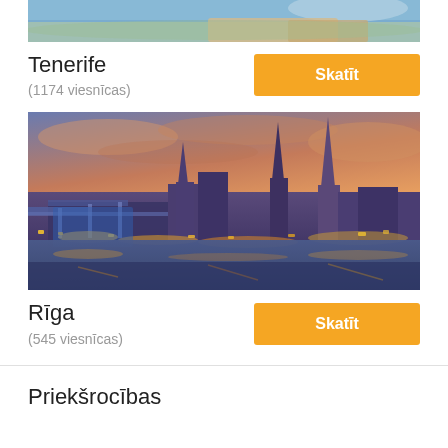[Figure (photo): Aerial/coastal photo of Tenerife, partially cropped at top]
Tenerife
(1174 viesnīcas)
[Figure (photo): City skyline of Rīga at dusk with church spires and river reflections]
Rīga
(545 viesnīcas)
Priekšrocības